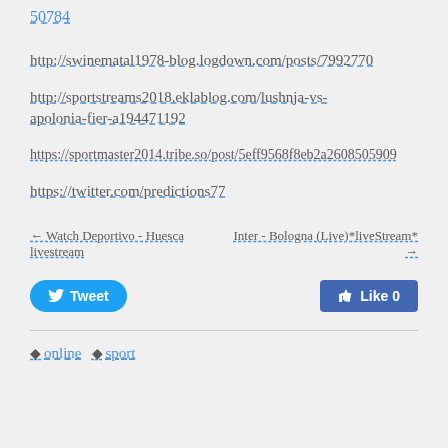50784
http://swinematal1978-blog.logdown.com/posts/7992770
http://sportstreams2018.eklablog.com/lushnja-vs-apolonia-fier-a194471192
https://sportmaster2014.tribe.so/post/5eff9568f8eb2a2608505909
https://twitter.com/predictions77
← Watch Deportivo - Huesca livestream
Inter - Bologna (Live)*liveStream* →
[Figure (other): Tweet button and Like 0 button]
online  sport